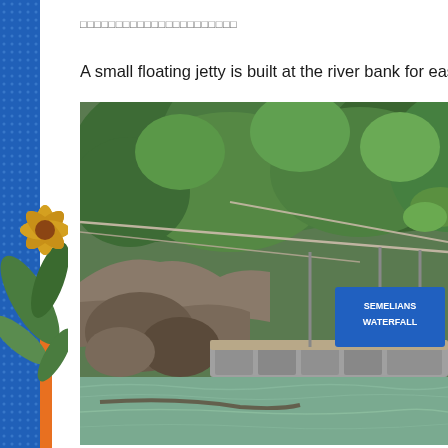□□□□□□□□□□□□□□□□□□□□□□
A small floating jetty is built at the river bank for easy b
[Figure (photo): A small floating jetty at a river bank surrounded by dense tropical forest. A blue banner reads 'SEMELIANS WATERFALL'. The jetty is made of grey plastic floats connected by ropes. Clear river water is visible in the foreground.]